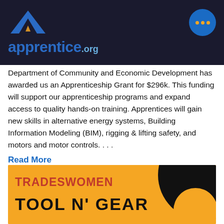apprentice.org
Department of Community and Economic Development has awarded us an Apprenticeship Grant for $296k. This funding will support our apprenticeship programs and expand access to quality hands-on training. Apprentices will gain new skills in alternative energy systems, Building Information Modeling (BIM), rigging & lifting safety, and motors and motor controls. . . .
Read More
[Figure (illustration): Yellow banner image with red text 'TRADESWOMEN' and black text 'TOOL N' GEAR' with a large black gear/circle graphic on the right side]